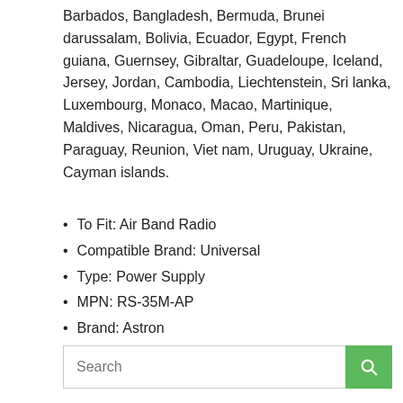Barbados, Bangladesh, Bermuda, Brunei darussalam, Bolivia, Ecuador, Egypt, French guiana, Guernsey, Gibraltar, Guadeloupe, Iceland, Jersey, Jordan, Cambodia, Liechtenstein, Sri lanka, Luxembourg, Monaco, Macao, Martinique, Maldives, Nicaragua, Oman, Peru, Pakistan, Paraguay, Reunion, Viet nam, Uruguay, Ukraine, Cayman islands.
To Fit: Air Band Radio
Compatible Brand: Universal
Type: Power Supply
MPN: RS-35M-AP
Brand: Astron
Details...   Price...